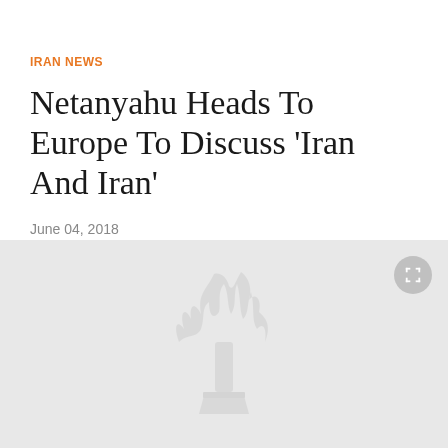IRAN NEWS
Netanyahu Heads To Europe To Discuss 'Iran And Iran'
June 04, 2018
By RFE/RL
[Figure (photo): Gray placeholder image with RFE/RL torch-and-flame logo watermark in center, fullscreen button in top-right corner]